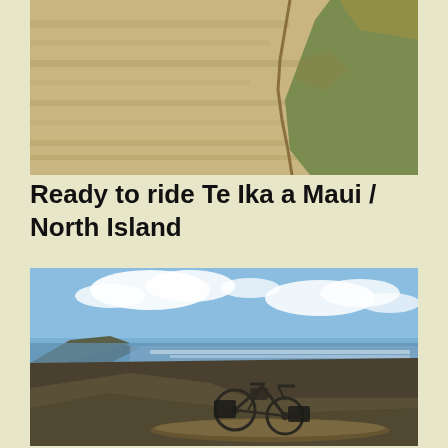[Figure (photo): Sandy path or road eroding into grassy bank, top-down view showing sandy texture with tufts of dry grass on the right side]
Ready to ride Te Ika a Maui / North Island
[Figure (photo): Loaded touring bicycle leaning against a large piece of driftwood on a wide dark sandy beach with mountains in the background and blue sky with white clouds. The ocean is visible in the distance.]